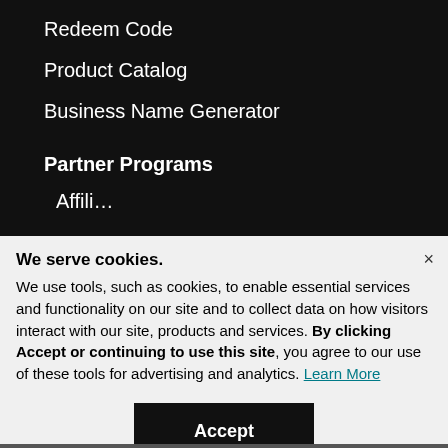Redeem Code
Product Catalog
Business Name Generator
Partner Programs
Affili…
We serve cookies.
We use tools, such as cookies, to enable essential services and functionality on our site and to collect data on how visitors interact with our site, products and services. By clicking Accept or continuing to use this site, you agree to our use of these tools for advertising and analytics. Learn More
Accept
Decline
Manage Settings